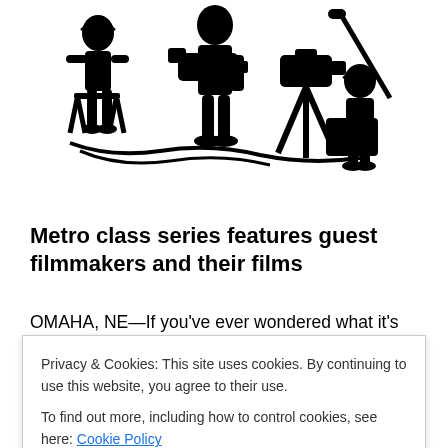[Figure (illustration): Black silhouette illustration of a film crew with camera equipment, tripod, and operator figures on a white background]
Metro class series features guest filmmakers and their films
OMAHA, NE—If you've ever wondered what it's like to watch a film with its maker, then a summer Metropolitan Community College class series is your ticket to that cinema insider experience.
Privacy & Cookies: This site uses cookies. By continuing to use this website, you agree to their use.
To find out more, including how to control cookies, see here: Cookie Policy
which meets from 1 to 4 p.m., is taught by Omaha film author journalist blogger Lee Adam Rigo